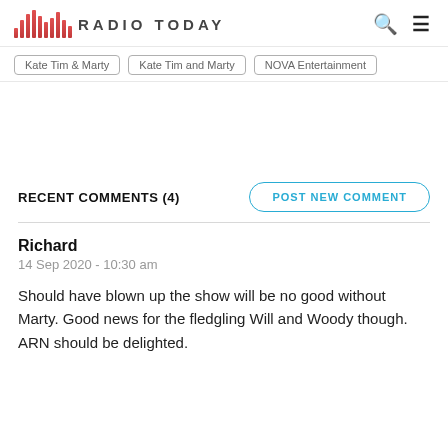RADIO TODAY
Kate Tim & Marty
Kate Tim and Marty
NOVA Entertainment
RECENT COMMENTS (4)
POST NEW COMMENT
Richard
14 Sep 2020 - 10:30 am
Should have blown up the show will be no good without Marty. Good news for the fledgling Will and Woody though. ARN should be delighted.